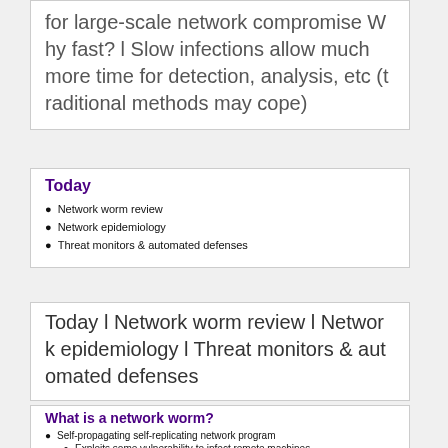for large-scale network compromise Why fast? l Slow infections allow much more time for detection, analysis, etc (traditional methods may cope)
Today
Network worm review
Network epidemiology
Threat monitors & automated defenses
Today l Network worm review l Network epidemiology l Threat monitors & automated defenses
What is a network worm?
Self-propagating self-replicating network program
Exploits some vulnerability to infect remote machines